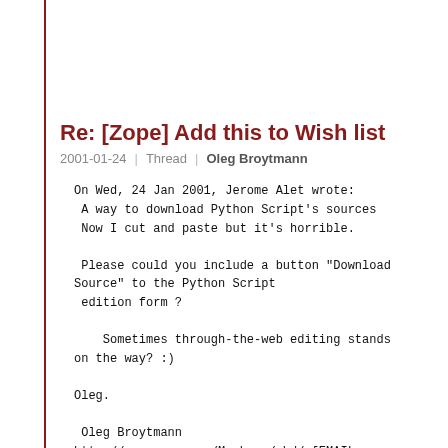Re: [Zope] Add this to Wish list
2001-01-24  |  Thread  |  Oleg Broytmann
On Wed, 24 Jan 2001, Jerome Alet wrote:
 A way to download Python Script's sources
 Now I cut and paste but it's horrible.

 Please could you include a button "Download
Source" to the Python Script
 edition form ?

    Sometimes through-the-web editing stands
on the way? :)

Oleg.

 Oleg Broytmann
http://www.zope.org/Members/phd/ [EMAIL
PROTECTED]